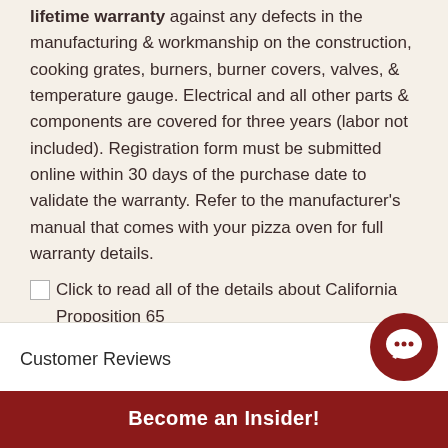lifetime warranty against any defects in the manufacturing & workmanship on the construction, cooking grates, burners, burner covers, valves, & temperature gauge. Electrical and all other parts & components are covered for three years (labor not included). Registration form must be submitted online within 30 days of the purchase date to validate the warranty. Refer to the manufacturer's manual that comes with your pizza oven for full warranty details.
Click to read all of the details about California Proposition 65
Customer Reviews
Become an Insider!